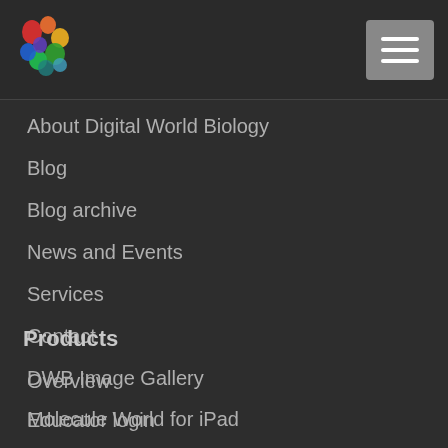Digital World Biology logo and navigation menu
About Digital World Biology
Blog
Blog archive
News and Events
Services
Contact
DWB Image Gallery
Educator login
Support
Products
Overview
Molecule World for iPad
Structure Collections
Bioinformatics Books
Worksheets